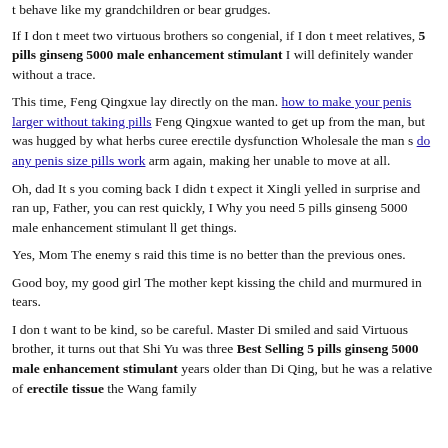t behave like my grandchildren or bear grudges.
If I don t meet two virtuous brothers so congenial, if I don t meet relatives, 5 pills ginseng 5000 male enhancement stimulant I will definitely wander without a trace.
This time, Feng Qingxue lay directly on the man. how to make your penis larger without taking pills Feng Qingxue wanted to get up from the man, but was hugged by what herbs curee erectile dysfunction Wholesale the man s do any penis size pills work arm again, making her unable to move at all.
Oh, dad It s you coming back I didn t expect it Xingli yelled in surprise and ran up, Father, you can rest quickly, I Why you need 5 pills ginseng 5000 male enhancement stimulant ll get things.
Yes, Mom The enemy s raid this time is no better than the previous ones.
Good boy, my good girl The mother kept kissing the child and murmured in tears.
I don t want to be kind, so be careful. Master Di smiled and said Virtuous brother, it turns out that Shi Yu was three Best Selling 5 pills ginseng 5000 male enhancement stimulant years older than Di Qing, but he was a relative of erectile tissue the Wang family